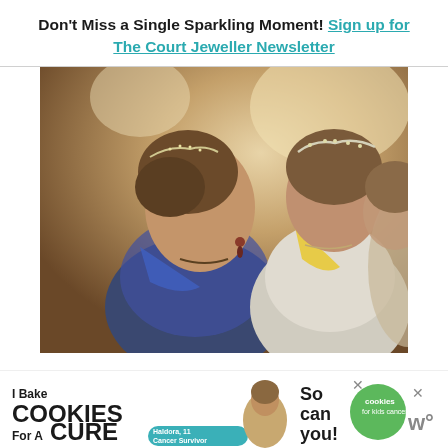Don't Miss a Single Sparkling Moment! Sign up for The Court Jeweller Newsletter
[Figure (photo): Two women wearing tiaras at a formal event. The woman in the foreground is wearing a blue lace dress with a blue sash, drop earrings, and a delicate tiara. A second woman in the background wears a white/grey outfit with a yellow sash and a diamond tiara.]
[Figure (infographic): Advertisement banner: 'I Bake COOKIES For A CURE' with Haldora, 11 Cancer Survivor and 'So can you!' text with cookies for kids cancer logo and Whirlpool logo.]